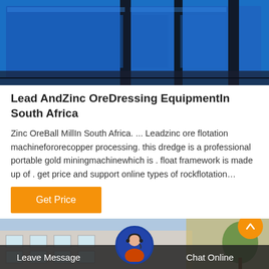[Figure (photo): Blue industrial mining/ore dressing equipment machinery, large metal boxes/tanks with structural supports, photographed outdoors]
Lead AndZinc OreDressing EquipmentIn South Africa
Zinc OreBall MillIn South Africa. ... Leadzinc ore flotation machinefororecopper processing. this dredge is a professional portable gold miningmachinewhich is . float framework is made up of . get price and support online types of rockflotation…
Get Price
[Figure (photo): Bottom section showing a building exterior photo with a customer service representative avatar circle in the center, an orange scroll-to-top button, and a dark overlay bar with 'Leave Message' on left and 'Chat Online' on right]